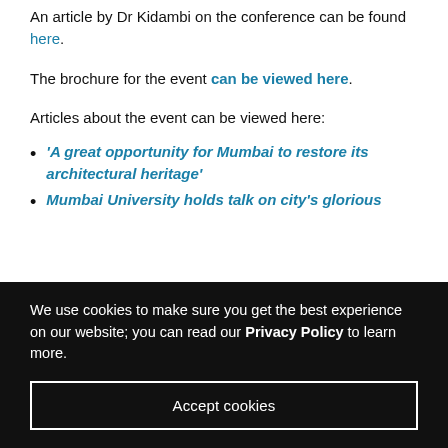An article by Dr Kidambi on the conference can be found here.
The brochure for the event can be viewed here.
Articles about the event can be viewed here:
'A great opportunity for Mumbai to restore its architectural heritage'
Mumbai University holds talk on city's glorious
We use cookies to make sure you get the best experience on our website; you can read our Privacy Policy to learn more.
Accept cookies